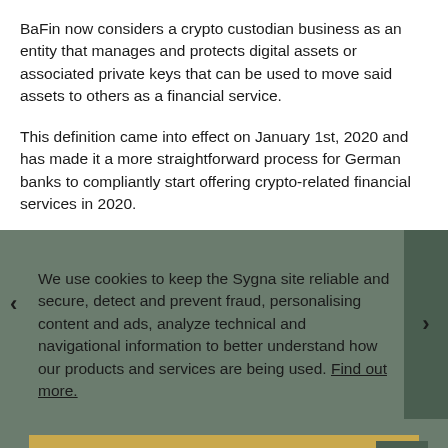BaFin now considers a crypto custodian business as an entity that manages and protects digital assets or associated private keys that can be used to move said assets to others as a financial service.
This definition came into effect on January 1st, 2020 and has made it a more straightforward process for German banks to compliantly start offering crypto-related financial services in 2020.
We use cookies to keep the Sygna site reliable and secure, detect and prevent fraud, personalising content and ads, analyze technical and navigational information to better understand how our products and services are being used. Find out more.